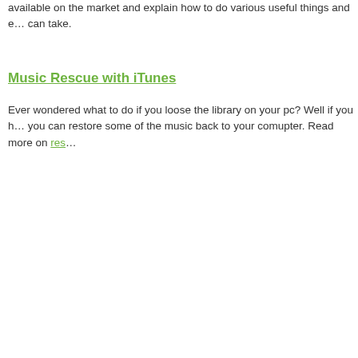available on the market and explain how to do various useful things and e... can take.
Music Rescue with iTunes
Ever wondered what to do if you loose the library on your pc? Well if you h... you can restore some of the music back to your comupter. Read more on res...